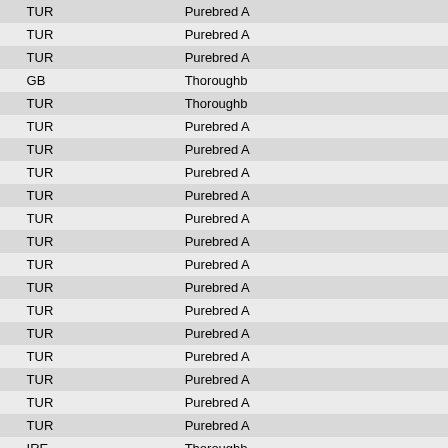| Name | Country | Type |
| --- | --- | --- |
| GÖNÜL.2 | TUR | Purebred A... |
| NECME.39 | TUR | Purebred A... |
| ILGIN | TUR | Purebred A... |
| PEBBLEDASH (GB) | GB | Thoroughb... |
| TRIANON | TUR | Thoroughb... |
| ZAFİRE.14 | TUR | Purebred A... |
| MENCULE.26 | TUR | Purebred A... |
| ALMİMRUHİYE.26 | TUR | Purebred A... |
| TURFETÜNNUR.30 | TUR | Purebred A... |
| MATRA.32 | TUR | Purebred A... |
| ŞAHİDE.48 | TUR | Purebred A... |
| MEBRUKE.52 | TUR | Purebred A... |
| SEYYARE.55 | TUR | Purebred A... |
| CAHİDE.56 | TUR | Purebred A... |
| KEMİYETÜLİRAK.61 | TUR | Purebred A... |
| CAHİDE.69 | TUR | Purebred A... |
| CAHİDE.73 | TUR | Purebred A... |
| ALTINBERK | TUR | Purebred A... |
| SAPHA.35 | TUR | Purebred A... |
| FAIRLANDA (IRE) | IRE | Thoroughb... |
| LEONTINE (GER) | GER | Thoroughb... |
| MISS NANCY | TUR | Thoroughb... |
| GÜLDEM II | TUR | Thoroughb... |
| KİRAĞI | TUR | Purebred A... |
| BENGİSU | TUR | Purebred A... |